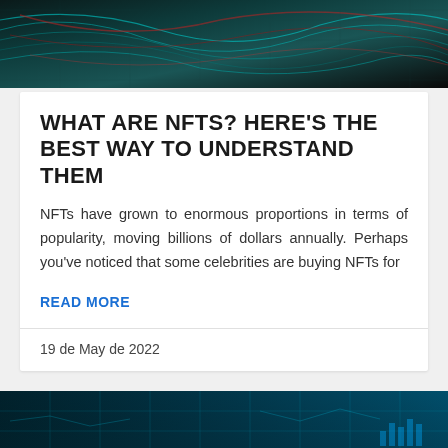[Figure (photo): Abstract digital art image with swirling teal, red, and dark patterns forming a textured mesh-like surface.]
WHAT ARE NFTS? HERE'S THE BEST WAY TO UNDERSTAND THEM
NFTs have grown to enormous proportions in terms of popularity, moving billions of dollars annually. Perhaps you've noticed that some celebrities are buying NFTs for
READ MORE
19 de May de 2022
[Figure (photo): Dark teal digital technology background with cloud computing icons, SaaS text, and network grid lines. Purple chat button in the lower right corner.]